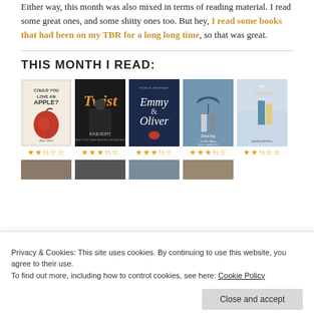Either way, this month was also mixed in terms of reading material. I read some great ones, and some shitty ones too. But hey, I read some books that had been on my TBR for a long long time, so that was great.
THIS MONTH I READ:
[Figure (illustration): Five book covers in a row: 'Could You Love an Apple?', 'Twist' by Kylie Scott, 'Emmy & Oliver', 'Dancing in the Rain' by Kelly Jamieson, 'My Unscripted Life' by Lauren Morrill, each with star ratings below (approximately 2.5, 3.5, 3.5, 3.5, 2.5 stars out of 5)]
Privacy & Cookies: This site uses cookies. By continuing to use this website, you agree to their use. To find out more, including how to control cookies, see here: Cookie Policy